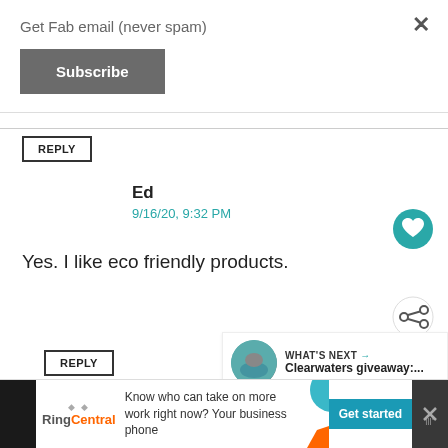Get Fab email (never spam)
Subscribe
REPLY
Ed
9/16/20, 9:32 PM
Yes. I like eco friendly products.
REPLY
WHAT'S NEXT → Clearwaters giveaway:...
Know who can take on more work right now? Know who can take on more work right now? Your business phone
Get started